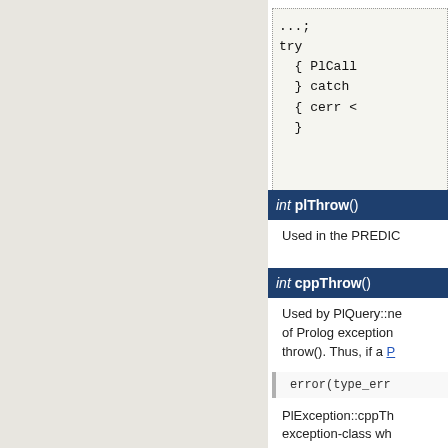[Figure (screenshot): Code block with dotted border showing C++ try/catch snippet: ...;
try
{ PlCall
} catch
{ cerr <
}]
int plThrow()
Used in the PREDIC
int cppThrow()
Used by PlQuery::ne of Prolog exception throw(). Thus, if a P
error(type_err
PlException::cppTh exception-class wh Prolog.